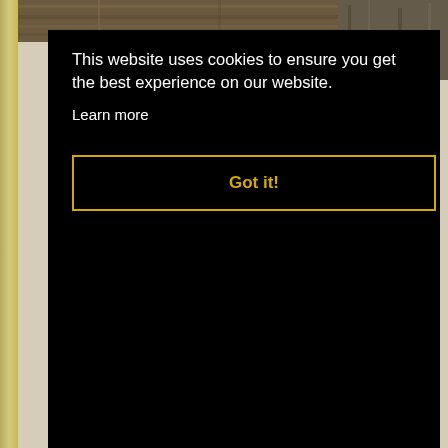[Figure (photo): Top partial photo showing wood/timber planks, partially visible at the top of the page]
[Figure (photo): Top-right inset photo showing dark wood or rock texture]
This website uses cookies to ensure you get the best experience on our website.
Learn more
Got it!
[Figure (photo): Photo of a person wearing a brown/tan overcoat and dark boots, standing in a wooded green area, holding a walking stick/cane with a yellow tip]